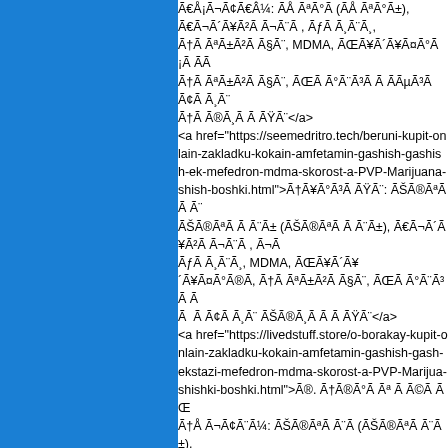[Figure (other): Blue sidebar panel on left side of page]
ÃŠÃ¬Ã¢Ã€Â¼: ÃŠÃ®ÃªÃ°Ã (ÃŠÃ®ÃªÃ°Ã±), Ã€Ã¬Ã´Ã¥Ã²Ã Ã¬Ã¨Ã , ÃƒÃ Ã¸Ã¨Ã¸, MDMA, ÃŒÃ¥Ã´Ã¥Ã¤Ã°Ã®Ã, ÃŠÃ±Ã²Ã Ã§Ã¨, ÃŒÃ Ã°Ã¨Ã³Ã Ã Ã Ã¢Ã Ã¸Ã¨ ÃŠÃ®Ã¸Ã ÃŠÃ¨</a>
<a href="https://seemedritro.tech/beruni-kupit-onlain-zakladku-kokain-amfetamin-gashish-gashish-ekstazi-mefedron-mdma-skorost-a-PVP-Marijuana-shishki-boshki.html">ÃŠÃ¥Ã°Ã³Ã ÃŠÃ¨: ÃŠÃ®ÃªÃ Ã¨Ã (ÃŠÃ®ÃªÃ Ã¨Ã±), Ã€Ã¬Ã´Ã¥Ã²Ã Ã¬Ã¨Ã , ÃƒÃ Ã¸Ã¨Ã¸, MDMA, ÃŒÃ¥Ã´Ã¥Ã¤Ã°Ã®Ã, ÃŠÃ±Ã²Ã Ã§Ã¨, ÃŒÃ Ã°Ã¨Ã³Ã Ã Ã Ã¢Ã Ã¸Ã¨ ÃŠÃ®Ã¸Ã ÃŠÃ¨</a>
<a href="https://livedstuff.store/o-borakay-kupit-onlain-zakladku-kokain-amfetamin-gashish-gash-ekstazi-mefedron-mdma-skorost-a-PVP-Marijuana-shishki-boshki.html">Ã®. ÃŠÃ®Ã°Ã Ãª Ã©Ã ÃŒÃ³Ã¬Ã¨Ã¢Ã¼: ÃŠÃ®ÃªÃ Ã¨Ã (ÃŠÃ®ÃªÃ Ã¨Ã±), Ã€Ã¬Ã´Ã¥Ã²Ã Ã¬Ã¨Ã , ÃƒÃ Ã¸Ã¨Ã¸, MDMA, ÃŒÃ¥Ã´Ã¥Ã¤Ã°Ã®Ã, ÃŠÃ±Ã²Ã Ã§Ã¨, ÃŒÃ Ã°Ã¨Ã³Ã Ã Ã Ã¢Ã Ã¸Ã¨ ÃŠÃ®Ã¸Ã ÃŠÃ¨</a>
<a href="https://kupitkladdied.online/mordoviya-kokain-amfetamin-gashish-gashish-ekstazi-mefedron-mdma-skorost-a-PVP-Marijuana-shishki-boshki.html">ÃŒÃ®Ã°Ã¤Ã®Ã²Ã¨Ã¼Ã</a>